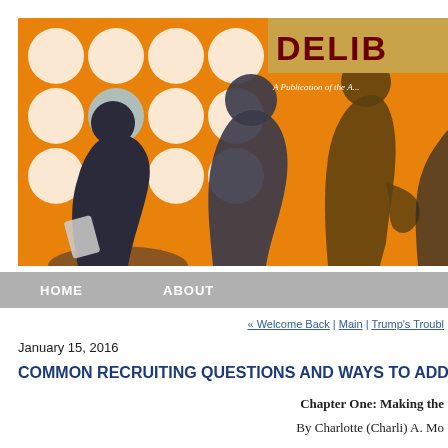[Figure (illustration): Header banner with orange background showing silhouettes of professional people in a recruiting/job interview scene, with white circles grid pattern on the left side, and a golden/tan box in the upper right showing partial text 'DELIB' and 'A Publication of the A...']
HOME   ABOUT
« Welcome Back | Main | Trump's Troubl...
January 15, 2016
COMMON RECRUITING QUESTIONS AND WAYS TO ADD...
Chapter One: Making the...
By Charlotte (Charli) A. Mo...